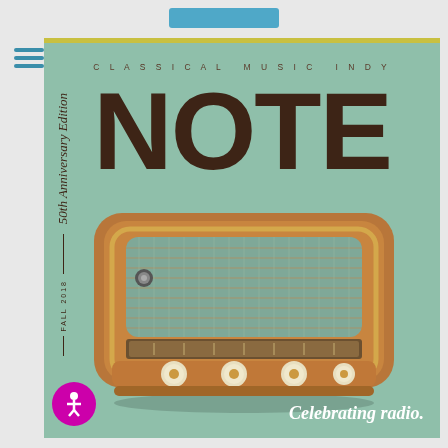[Figure (illustration): Magazine cover for Classical Music Indy NOTE, 50th Anniversary Edition, Fall 2018, featuring a vintage wooden radio on a sage green background with the text 'Celebrating radio.']
CLASSICAL MUSIC INDY
NOTE
50th Anniversary Edition
FALL 2018
Celebrating radio.